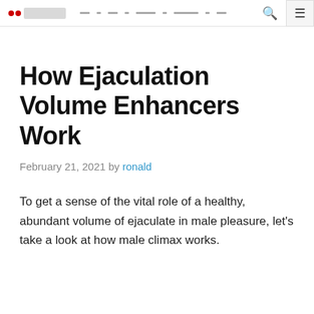[website logo and navigation bar]
How Ejaculation Volume Enhancers Work
February 21, 2021 by ronald
To get a sense of the vital role of a healthy, abundant volume of ejaculate in male pleasure, let’s take a look at how male climax works.